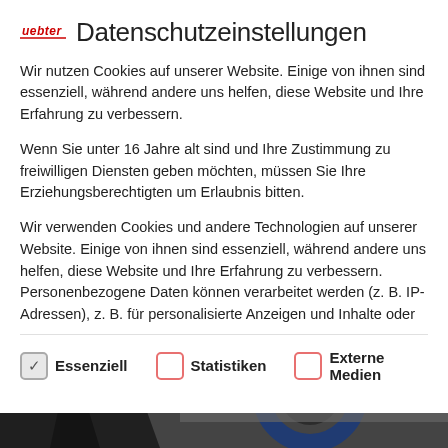Datenschutzeinstellungen
Wir nutzen Cookies auf unserer Website. Einige von ihnen sind essenziell, während andere uns helfen, diese Website und Ihre Erfahrung zu verbessern.
Wenn Sie unter 16 Jahre alt sind und Ihre Zustimmung zu freiwilligen Diensten geben möchten, müssen Sie Ihre Erziehungsberechtigten um Erlaubnis bitten.
Wir verwenden Cookies und andere Technologien auf unserer Website. Einige von ihnen sind essenziell, während andere uns helfen, diese Website und Ihre Erfahrung zu verbessern. Personenbezogene Daten können verarbeitet werden (z. B. IP-Adressen), z. B. für personalisierte Anzeigen und Inhalte oder
Essenziell
Statistiken
Externe Medien
[Figure (photo): Bottom portion shows a red bar and a dark background with partial view of a blue and grey vehicle/logo graphic]